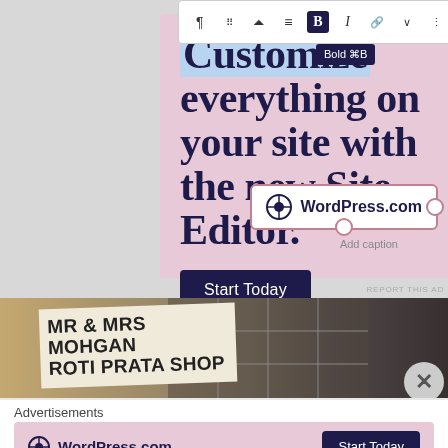[Figure (screenshot): WordPress.com advertisement with toolbar showing Bold button tooltip, pink background with large heading 'Customize everything on your site with the new Site Editor.' and a 'Start Today' dark button, WordPress.com logo in a bordered box, and 'Add caption' text below]
[Figure (photo): Photograph of a shop front with a sign reading 'MR & MRS MOHGAN ROTI PRATA SHOP']
Advertisements
[Figure (screenshot): WordPress.com advertisement banner at bottom with WordPress logo on left and 'Start Today' dark button on right, pink background]